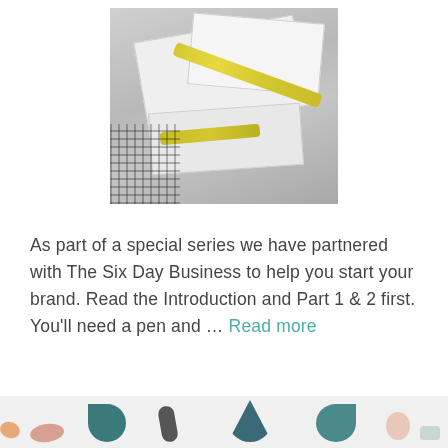[Figure (photo): A photograph of sewing/tailoring supplies on a work surface: white paper pattern pieces, a yellow measuring tape curled across the papers, and a black mesh/grid fabric visible in the bottom left corner.]
As part of a special series we have partnered with The Six Day Business to help you start your brand. Read the Introduction and Part 1 & 2 first. You'll need a pen and … Read more
[Figure (illustration): Decorative bottom strip with colorful geometric shapes: triangles, teardrop/organic forms in teal, dark grey, salmon/pink, and light blue colors on a light grey background.]